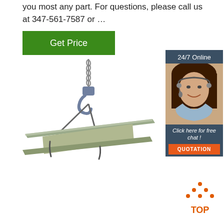you most any part. For questions, please call us at 347-561-7587 or …
[Figure (other): Green 'Get Price' button]
[Figure (other): 24/7 online chat widget with female customer service representative wearing headset, 'Click here for free chat!' text, and orange QUOTATION button]
[Figure (photo): Steel I-beam suspended by a crane hook with wire rope slings]
[Figure (other): Orange 'TOP' badge with arrow dots pointing upward]